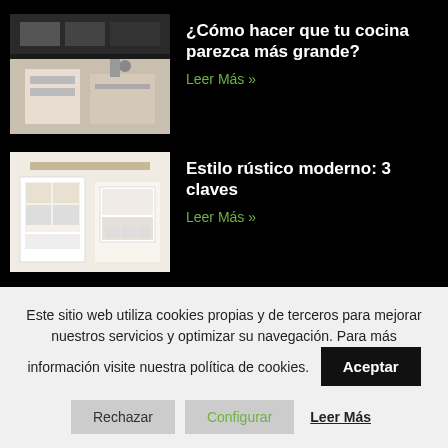[Figure (photo): Kitchen interior photo - modern dark kitchen]
¿Cómo hacer que tu cocina parezca más grande?
Leer Más »
[Figure (photo): Kitchen interior photo - rustic white kitchen with island]
Estilo rústico moderno: 3 claves
Leer Más »
[Figure (photo): Kitchen interior photo - colorful green kitchen]
¿Quieres innovar? ¡Cocina de colores!
Leer Más »
[Figure (photo): Kitchen interior photo - partial view]
¿Cocina perfecta? 10 claves
Este sitio web utiliza cookies propias y de terceros para mejorar nuestros servicios y optimizar su navegación. Para más información visite nuestra política de cookies.
Aceptar
Rechazar
Configurar
Leer Más